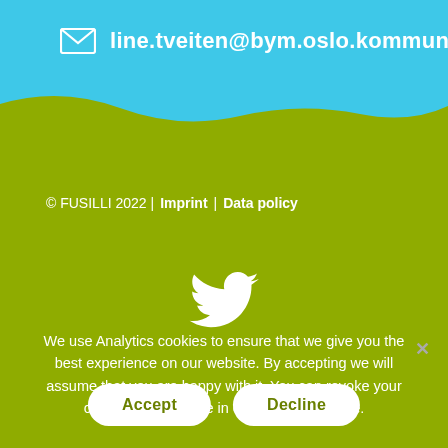line.tveiten@bym.oslo.kommune.no
© FUSILLI 2022 | Imprint | Data policy
[Figure (logo): White Twitter bird icon on olive/green background]
We use Analytics cookies to ensure that we give you the best experience on our website. By accepting we will assume that you are happy with it. You can revoke your consent at any Time in our Data Policy Site.
Accept
Decline